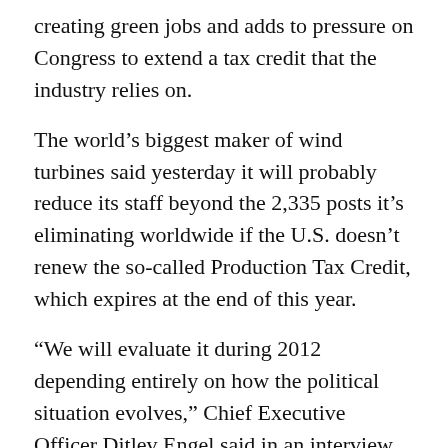creating green jobs and adds to pressure on Congress to extend a tax credit that the industry relies on.
The world’s biggest maker of wind turbines said yesterday it will probably reduce its staff beyond the 2,335 posts it’s eliminating worldwide if the U.S. doesn’t renew the so-called Production Tax Credit, which expires at the end of this year.
“We will evaluate it during 2012 depending entirely on how the political situation evolves,” Chief Executive Officer Ditlev Engel said in an interview in Copenhagen. U.S. jobs will be scrapped “for sure” without the credit, and a decision is due “no later than the fourth quarter,” he said.
Obama took office three years ago pledging to generate jobs in the wind and solar industries, and calling in January 2011 for a “Sputnik moment” to wean the U.S. off fossil fuels. Since he came to power, carbon cap-and-trade legislation stalled and lawmakers attacked backing